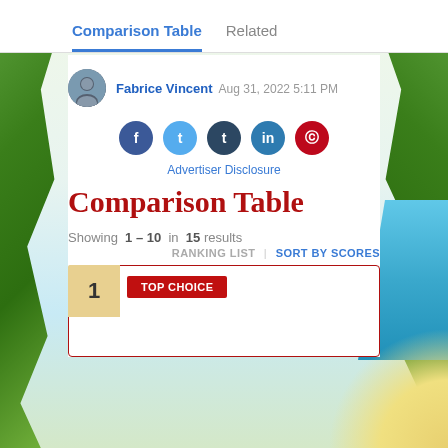Comparison Table | Related
[Figure (photo): Author avatar photo of Fabrice Vincent]
Fabrice Vincent  Aug 31, 2022 5:11 PM
[Figure (infographic): Social media share buttons: Facebook, Twitter, Tumblr, LinkedIn, Pinterest]
Advertiser Disclosure
Comparison Table
Showing 1 – 10 in 15 results
RANKING LIST | SORT BY SCORES
1  TOP CHOICE